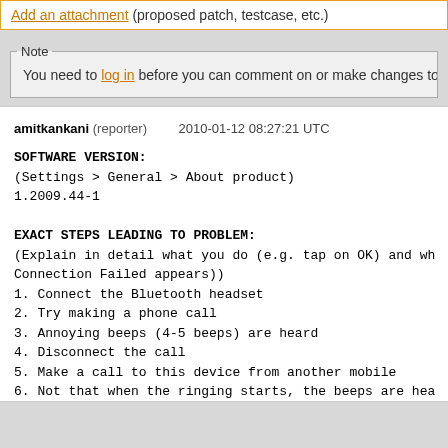Add an attachment (proposed patch, testcase, etc.)
Note
You need to log in before you can comment on or make changes to this b
amitkankani (reporter)    2010-01-12 08:27:21 UTC

SOFTWARE VERSION:
(Settings > General > About product)
1.2009.44-1

EXACT STEPS LEADING TO PROBLEM:
(Explain in detail what you do (e.g. tap on OK) and wh
Connection Failed appears))
1. Connect the Bluetooth headset
2. Try making a phone call
3. Annoying beeps (4-5 beeps) are heard
4. Disconnect the call
5. Make a call to this device from another mobile
6. Not that when the ringing starts, the beeps are hea
7. Pick up the call, notice that when the call is pick
heard again

EXPECTED OUTCOME: